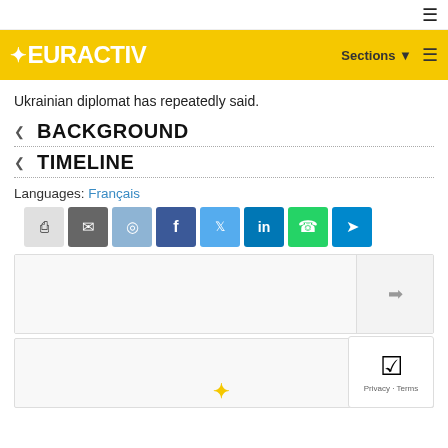EURACTIV — Sections ≡
Ukrainian diplomat has repeatedly said.
BACKGROUND
TIMELINE
Languages: Français
[Figure (screenshot): Social share buttons: print, email, reddit, facebook, twitter, linkedin, whatsapp, telegram]
[Figure (screenshot): Related content boxes with an arrow icon and partial EURACTIV logo at bottom; reCAPTCHA overlay showing Privacy - Terms]